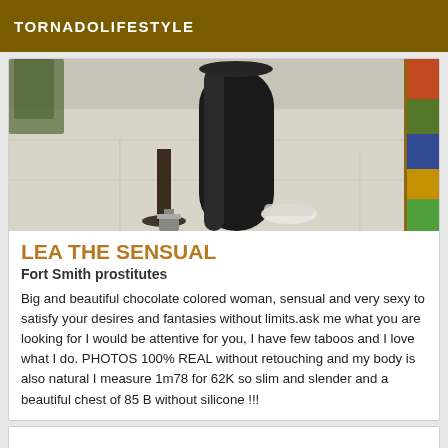TORNADOLIFESTYLE
[Figure (photo): Photo showing feet/legs of a person wearing high-heeled sandals on a light wood floor, with a large black cylindrical object and colorful fabric on the right edge]
LEA THE SENSUAL
Fort Smith prostitutes
Big and beautiful chocolate colored woman, sensual and very sexy to satisfy your desires and fantasies without limits.ask me what you are looking for I would be attentive for you, I have few taboos and I love what I do. PHOTOS 100% REAL without retouching and my body is also natural I measure 1m78 for 62K so slim and slender and a beautiful chest of 85 B without silicone !!!